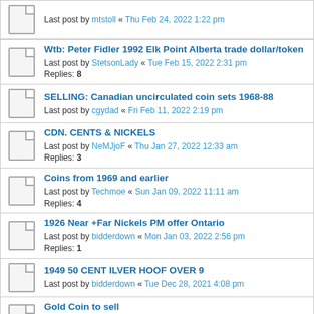Last post by mtstoll « Thu Feb 24, 2022 1:22 pm
Wtb: Peter Fidler 1992 Elk Point Alberta trade dollar/token
Last post by StetsonLady « Tue Feb 15, 2022 2:31 pm
Replies: 8
SELLING: Canadian uncirculated coin sets 1968-88
Last post by cgydad « Fri Feb 11, 2022 2:19 pm
CDN. CENTS & NICKELS
Last post by NeMJjoF « Thu Jan 27, 2022 12:33 am
Replies: 3
Coins from 1969 and earlier
Last post by Techmoe « Sun Jan 09, 2022 11:11 am
Replies: 4
1926 Near +Far Nickels PM offer Ontario
Last post by bidderdown « Mon Jan 03, 2022 2:56 pm
Replies: 1
1949 50 CENT ILVER HOOF OVER 9
Last post by bidderdown « Tue Dec 28, 2021 4:08 pm
Gold Coin to sell
Last post by Shanei « Wed Dec 01, 2021 9:06 pm
Replies: 3
Recently inherited coin collection
Last post by john1000 « Sat Nov 20, 2021 4:57 pm
Replies: 7